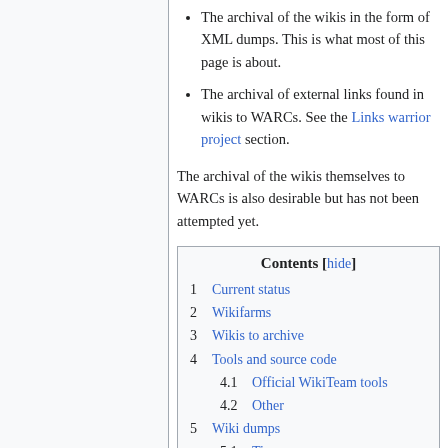The archival of the wikis in the form of XML dumps. This is what most of this page is about.
The archival of external links found in wikis to WARCs. See the Links warrior project section.
The archival of the wikis themselves to WARCs is also desirable but has not been attempted yet.
| Contents |
| --- |
| 1 | Current status |
| 2 | Wikifarms |
| 3 | Wikis to archive |
| 4 | Tools and source code |
| 4.1 | Official WikiTeam tools |
| 4.2 | Other |
| 5 | Wiki dumps |
| 5.1 | Tips |
| 5.2 | BitTorrent downloads |